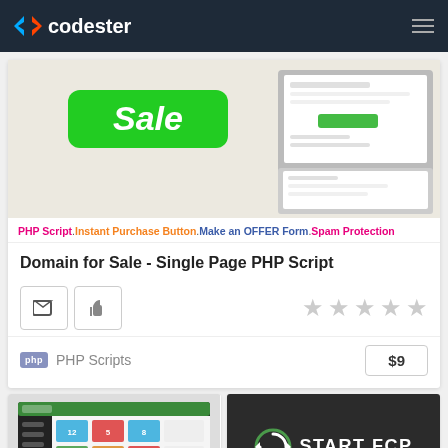codester
[Figure (screenshot): Product banner image showing a 'Sale' green badge and a domain-for-sale website screenshot on a monitor]
PHP Script. Instant Purchase Button. Make an OFFER Form. Spam Protection
Domain for Sale - Single Page PHP Script
[Figure (other): Action buttons: folder icon and thumbs up icon, plus 5 empty star rating]
PHP Scripts   $9
[Figure (screenshot): Dashboard admin panel screenshot with colorful stats tiles]
[Figure (logo): START FCP - ADVANCED EARNING SYSTEM dark background card with circular refresh icon]